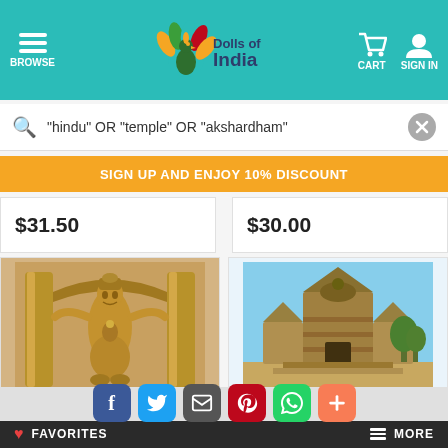[Figure (screenshot): Dolls of India website header with teal background, hamburger menu, peacock logo, cart and sign in icons]
"hindu" OR "temple" OR "akshardham"
SIGN UP AND ENJOY 10% DISCOUNT
$31.50
$30.00
[Figure (photo): Vishnu temple sculpture carved in stone/wood]
Vishnu - Temple Sculpture
[Figure (photo): Sun Temple, Modhera exterior view]
Sun Temple, Modhera -
FAVORITES
MORE
[Figure (screenshot): Social sharing buttons: Facebook, Twitter, Email, Pinterest, WhatsApp, Plus]